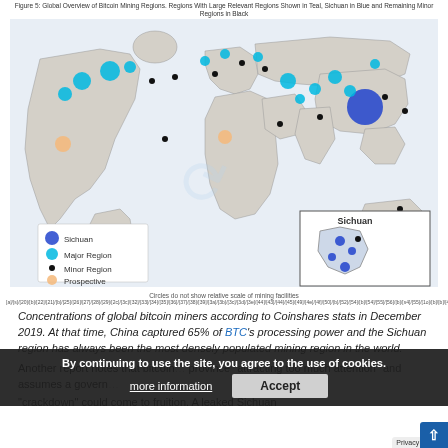Figure 5: Global Overview of Bitcoin Mining Regions. Regions With Large Relevant Regions Shown in Teal, Sichuan in Blue and Remaining Minor Regions in Black
[Figure (map): World map showing global bitcoin mining regions. Sichuan (large dark blue circle in China), Major Regions (teal/cyan circles), Minor Regions (small black dots), Prospective (light orange circle). Inset shows Sichuan province detail with small blue dots.]
Circles do not show relative scale of mining facilities
[a]/[s]/[20]/[b]/[22]/[21]/[b]/[25]/[26]/[27]/[28]/[29]/[2c]/[3c]/[32]/[33]/[34]/[35]/[36]/[37]/[38]/[39]/[3a]/[3b]/[3c]/[3d]/[3e]/[44]/[43]/[44]/[45]/[49]/[4e]/[4f]/[50]/[b]/[52]/[54]/[b]/[54]/[55]/[56]/[b]/[s4]/[55]/[1o]/[b]/[b]/[42]/[1b5]/[43]/[b55]/[56]/[b67]/[68]
Concentrations of global bitcoin miners according to Coinshares stats in December 2019. At that time, China captured 65% of BTC's processing power and the Sichuan region has always been the most densely populated mining region in the world.
Another report notes that bitcoin... province "attracting too much attention" and assumes a government "crackdown" could come to fruition. A leaked Sichuan